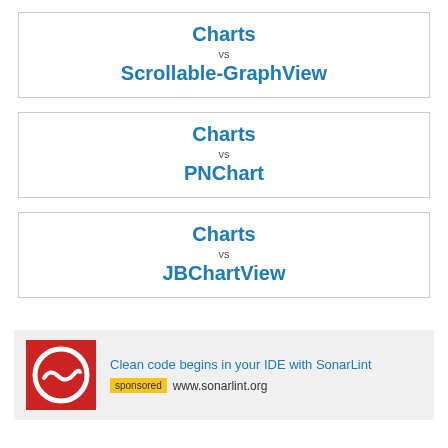Charts vs Scrollable-GraphView
Charts vs PNChart
Charts vs JBChartView
[Figure (other): SonarLint advertisement with red logo showing a wavy line in a circle, text: Clean code begins in your IDE with SonarLint, sponsored, www.sonarlint.org]